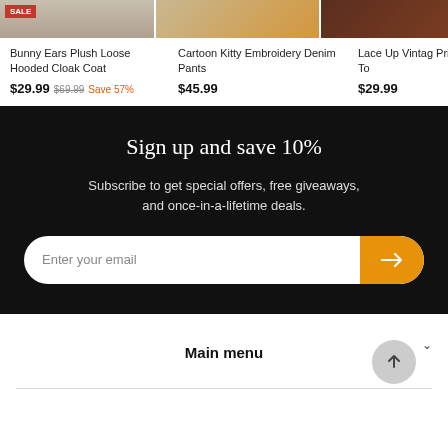[Figure (screenshot): Product image strip showing three clothing items: Bunny Ears Plush Hooded Cloak Coat with SALE badge, Cartoon Kitty Embroidery Denim Pants, and Lace Up Vintage Print Corset Top]
SALE
Bunny Ears Plush Loose Hooded Cloak Coat
$29.99 $69.99 Save 57%
Cartoon Kitty Embroidery Denim Pants
$45.99
Lace Up Vintage Print Corset To
$29.99
Sign up and save 10%
Subscribe to get special offers, free giveaways, and once-in-a-lifetime deals.
Enter your email
Main menu